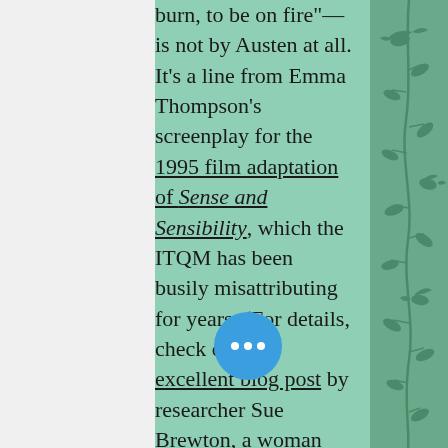burn, to be on fire"— is not by Austen at all. It's a line from Emma Thompson's screenplay for the 1995 film adaptation of Sense and Sensibility, which the ITQM has been busily misattributing for years. (For details, check out this excellent blog post by researcher Sue Brewton, a woman whose obsession with misquotation rivals my own. I can't believe I've only just stumbled across the work of this soul sister.)
So of T+L's two Austen love quotes, one is faux and one is out of context. That record is bad, yes, but hardly unprecedented. As blog readers know, I've been banging on about both problems for years. Indeed, one of the leading examples of out-of-context distortions concerns a love quote: As I noted before, the supposedly swoopy start
[Figure (illustration): Decorative floral/botanical pattern on teal/green background with birds and leafy vines on the right panel of the page.]